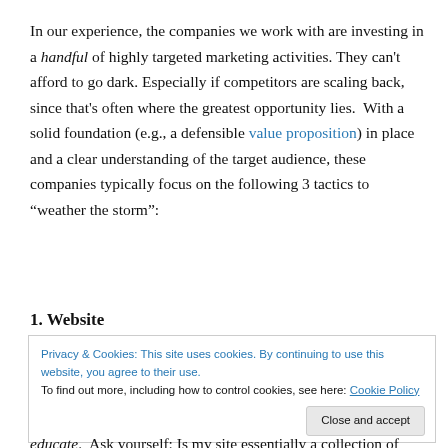In our experience, the companies we work with are investing in a handful of highly targeted marketing activities. They can't afford to go dark. Especially if competitors are scaling back, since that's often where the greatest opportunity lies.  With a solid foundation (e.g., a defensible value proposition) in place and a clear understanding of the target audience, these companies typically focus on the following 3 tactics to “weather the storm”:
1. Website
Privacy & Cookies: This site uses cookies. By continuing to use this website, you agree to their use.
To find out more, including how to control cookies, see here: Cookie Policy
educate.  Ask yourself: Is my site essentially a collection of